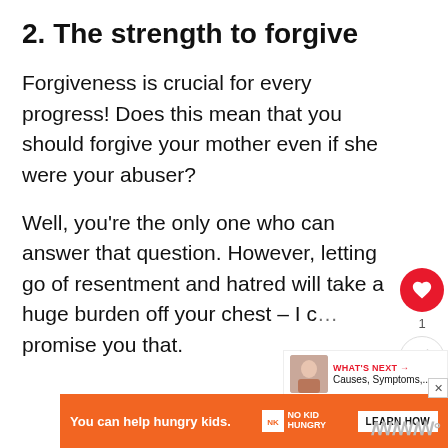2. The strength to forgive
Forgiveness is crucial for every progress! Does this mean that you should forgive your mother even if she were your abuser?
Well, you're the only one who can answer that question. However, letting go of resentment and hatred will take a huge burden off your chest – I c… promise you that.
[Figure (infographic): Ad banner: orange background with text 'You can help hungry kids.' No Kid Hungry logo and 'LEARN HOW' button. Close button with X at top right.]